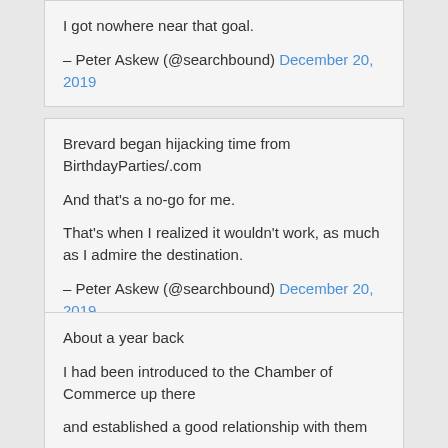I got nowhere near that goal.
– Peter Askew (@searchbound) December 20, 2019
Brevard began hijacking time from BirthdayParties/.com
And that's a no-go for me.
That's when I realized it wouldn't work, as much as I admire the destination.
– Peter Askew (@searchbound) December 20, 2019
About a year back
I had been introduced to the Chamber of Commerce up there
and established a good relationship with them
They admired the domain (as they operate off of